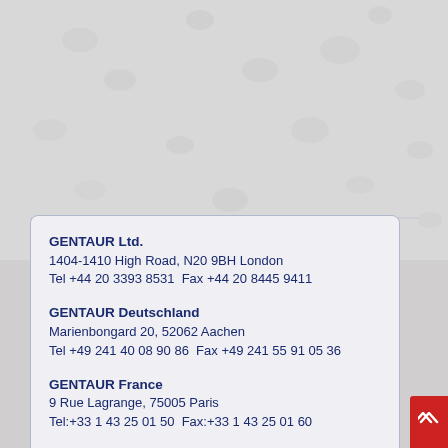[Figure (photo): Textured white/grey wall background in upper portion of image]
GENTAUR Ltd.
1404-1410 High Road, N20 9BH London
Tel +44 20 3393 8531  Fax +44 20 8445 9411
GENTAUR Deutschland
Marienbongard 20, 52062 Aachen
Tel +49 241 40 08 90 86  Fax +49 241 55 91 05 36
GENTAUR France
9 Rue Lagrange, 75005 Paris
Tel:+33 1 43 25 01 50  Fax:+33 1 43 25 01 60
GENTAUR Italia
Piazza Giacomo Matteotti 6, 24122 Bergamo
tel:+39 02 36 00 65 93   fax:+39 02 36 00 65 94